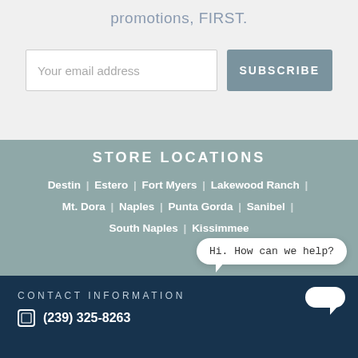promotions, FIRST.
Your email address
SUBSCRIBE
STORE LOCATIONS
Destin | Estero | Fort Myers | Lakewood Ranch | Mt. Dora | Naples | Punta Gorda | Sanibel | South Naples | Kissimmee
[Figure (other): Chat bubble with text: Hi. How can we help?]
CONTACT INFORMATION
(239) 325-8263